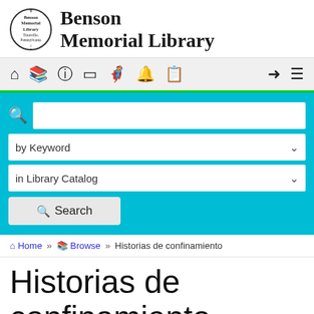[Figure (logo): Benson Memorial Library logo: circular seal with text and library name]
Benson Memorial Library
[Figure (screenshot): Navigation bar with icons: home, books, info, tablet, person, bell, clipboard, arrow-in, menu]
[Figure (screenshot): Search interface with search box, keyword dropdown, library catalog dropdown, and search button]
Home » Browse » Historias de confinamiento
Historias de confinamiento